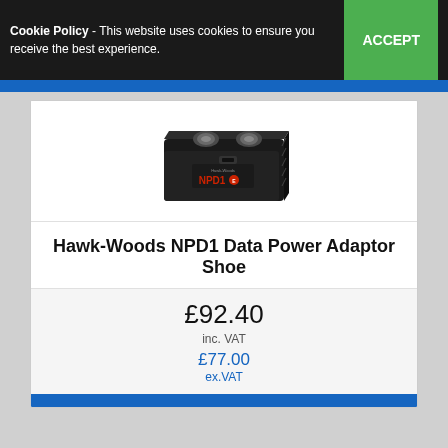Cookie Policy - This website uses cookies to ensure you receive the best experience.  ACCEPT
[Figure (photo): Product photo of a Hawk-Woods NPD1 Data Power Adaptor Shoe - a small black rectangular battery/power unit with two circular terminals on top and NPD1 branding in red on the front face]
Hawk-Woods NPD1 Data Power Adaptor Shoe
£92.40
inc. VAT
£77.00
ex.VAT
VIEW DETAILS